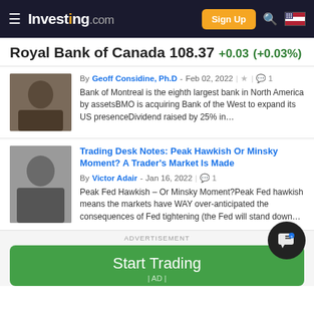Investing.com
Royal Bank of Canada 108.37 +0.03 (+0.03%)
By Geoff Considine, Ph.D - Feb 02, 2022 | ★ | 💬 1
Bank of Montreal is the eighth largest bank in North America by assetsBMO is acquiring Bank of the West to expand its US presenceDividend raised by 25% in…
Trading Desk Notes: Peak Hawkish Or Minsky Moment? A Trader's Market Is Made
By Victor Adair - Jan 16, 2022 | 💬 1
Peak Fed Hawkish – Or Minsky Moment?Peak Fed hawkish means the markets have WAY over-anticipated the consequences of Fed tightening (the Fed will stand down…
ADVERTISEMENT
Start Trading | AD |